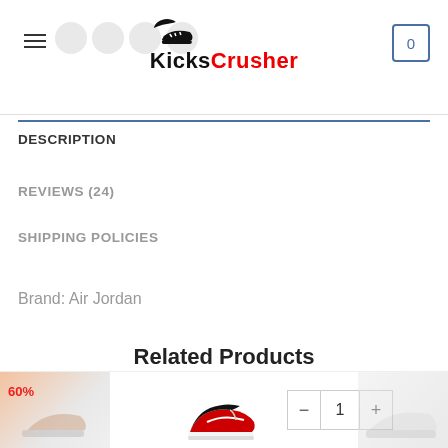KicksCrusher
DESCRIPTION
REVIEWS (24)
SHIPPING POLICIES
Brand: Air Jordan
Related Products
[Figure (screenshot): Bottom strip with product thumbnails, quantity control showing - 1 +, and a 60% badge on left product thumbnail]